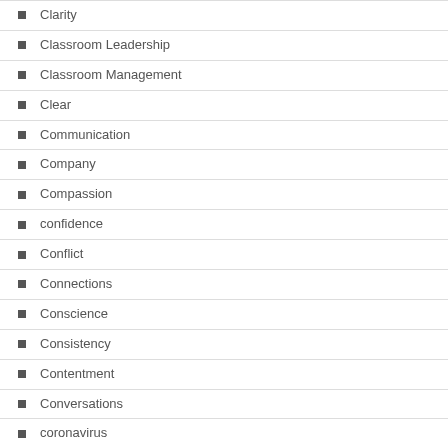Clarity
Classroom Leadership
Classroom Management
Clear
Communication
Company
Compassion
confidence
Conflict
Connections
Conscience
Consistency
Contentment
Conversations
coronavirus